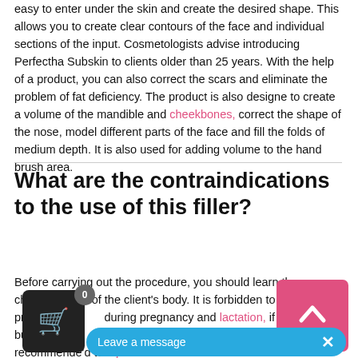easy to enter under the skin and create the desired shape. This allows you to create clear contours of the face and individual sections of the input. Cosmetologists advise introducing Perfectha Subskin to clients older than 25 years. With the help of a product, you can also correct the scars and eliminate the problem of fat deficiency. The product is also designe to create a volume of the mandible and cheekbones, correct the shape of the nose, model different parts of the face and fill the folds of medium depth. It is also used for adding volume to the hand brush area.
What are the contraindications to the use of this filler?
Before carrying out the procedure, you should learn the characteristics of the client's body. It is forbidden to enter the product during pregnancy and lactation, if there are burns or tendency to scar formation. It is not recommende'd to inject it if the client has inflammation of the skin or herpes. Impaired blood clotting, poor tolerance of hyaluronic acid... adhere to all skincare rules, the result will be long-lasting and